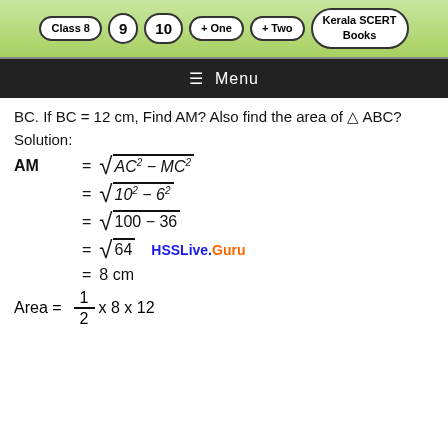Class 8  9  10  + One  + Two  Kerala SCERT Books
Menu
BC. If BC = 12 cm, Find AM? Also find the area of △ ABC?
Solution:
HSSLive.Guru